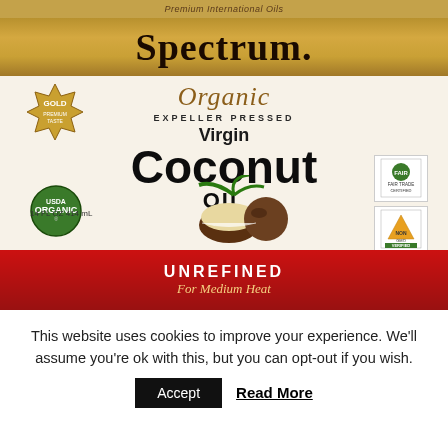[Figure (photo): Spectrum Organic Expeller Pressed Virgin Coconut Oil product label, Unrefined For Medium Heat, 14 FL OZ 414 mL, with USDA Organic and Non-GMO Verified certifications, gold top banner, red bottom banner]
This website uses cookies to improve your experience. We'll assume you're ok with this, but you can opt-out if you wish.
Accept  Read More